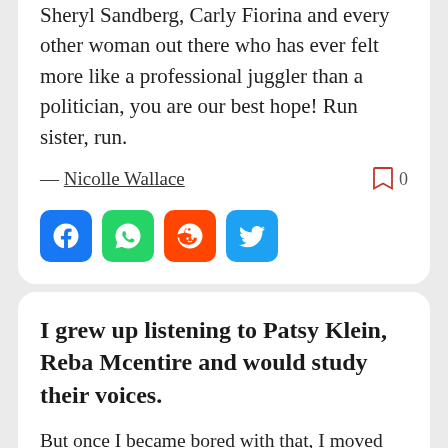Sheryl Sandberg, Carly Fiorina and every other woman out there who has ever felt more like a professional juggler than a politician, you are our best hope! Run sister, run.
— Nicolle Wallace
[Figure (other): Bookmark icon with count 0]
[Figure (other): Social share icons: Facebook (blue), WhatsApp (green), Reddit (orange), Twitter (light blue)]
I grew up listening to Patsy Klein, Reba Mcentire and would study their voices.
But once I became bored with that, I moved